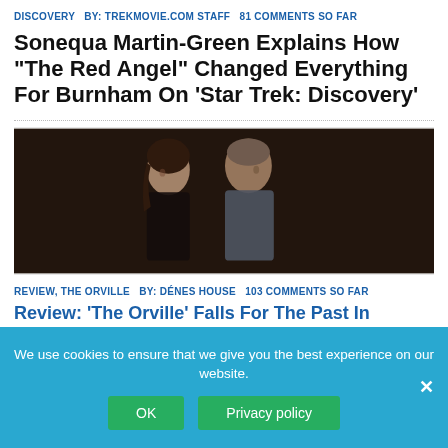DISCOVERY   BY: TREKMOVIE.COM STAFF   81 COMMENTS SO FAR
Sonequa Martin-Green Explains How “The Red Angel” Changed Everything For Burnham On ‘Star Trek: Discovery’
[Figure (photo): Two actors in a dramatic scene, a woman and a man facing each other closely, dark background]
REVIEW, THE ORVILLE   BY: DÉNES HOUSE   103 COMMENTS SO FAR
Review: ‘The Orville’ Falls For The Past In “Lasting Impressions”
We use cookies to ensure that we give you the best experience on our website.
OK   Privacy policy